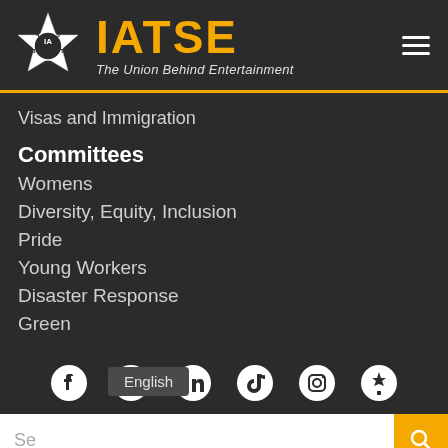[Figure (logo): IATSE union logo — white star/gear emblem with IATSE text and tagline 'The Union Behind Entertainment']
Visas and Immigration
Committees
Womens
Diversity, Equity, Inclusion
Pride
Young Workers
Disaster Response
Green
[Figure (illustration): Social media icons row: Facebook, Twitter/X, LinkedIn, TikTok, Instagram, Maple Leaf (Canada)]
English
Search